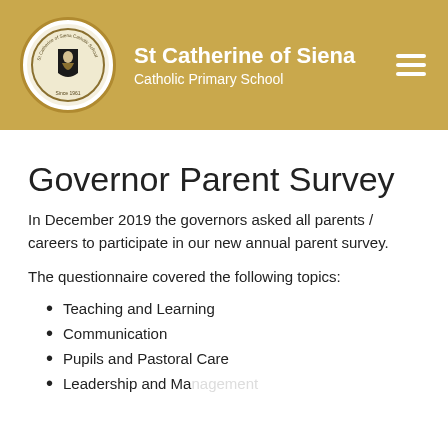St Catherine of Siena Catholic Primary School
Governor Parent Survey
In December 2019 the governors asked all parents / careers to participate in our new annual parent survey.
The questionnaire covered the following topics:
Teaching and Learning
Communication
Pupils and Pastoral Care
Leadership and Management